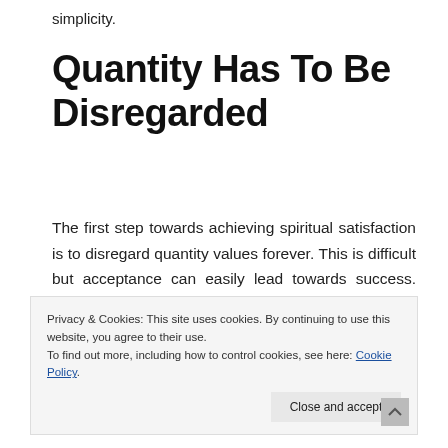simplicity.
Quantity Has To Be Disregarded
The first step towards achieving spiritual satisfaction is to disregard quantity values forever. This is difficult but acceptance can easily lead towards success. People will often mistake quantity as being a base for value and richness. The exact
Privacy & Cookies: This site uses cookies. By continuing to use this website, you agree to their use.
To find out more, including how to control cookies, see here: Cookie Policy
After disregarding quantity, it is time to do all that